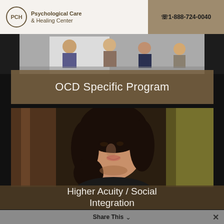PCH Psychological Care & Healing Center | ☎1-888-724-0040
[Figure (photo): Top photo strip showing people sitting in a group session]
OCD Specific Program
[Figure (photo): Portrait of a young woman with dark hair smiling slightly]
Higher Acuity / Social Integration
Share This